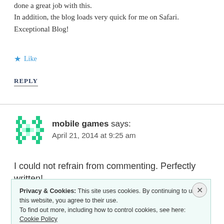done a great job with this.
In addition, the blog loads very quick for me on Safari. Exceptional Blog!
★ Like
REPLY
[Figure (illustration): Green pixel/diamond pattern avatar icon for user 'mobile games']
mobile games says:
April 21, 2014 at 9:25 am
I could not refrain from commenting. Perfectly written!
Privacy & Cookies: This site uses cookies. By continuing to use this website, you agree to their use.
To find out more, including how to control cookies, see here: Cookie Policy
Close and accept